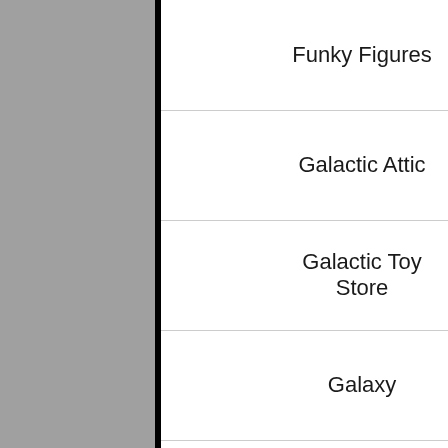| Name | Location |
| --- | --- |
| Funky Figures | Greater Manchester |
| Galactic Attic | Glamorgans |
| Galactic Toy Store | Kent |
| Galaxy | Midlothia |
| Game Force | South Yorkshire |